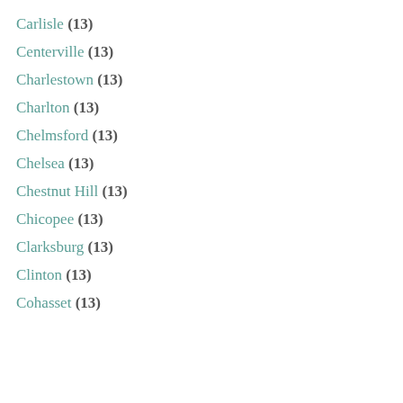Carlisle (13)
Centerville (13)
Charlestown (13)
Charlton (13)
Chelmsford (13)
Chelsea (13)
Chestnut Hill (13)
Chicopee (13)
Clarksburg (13)
Clinton (13)
Cohasset (13)